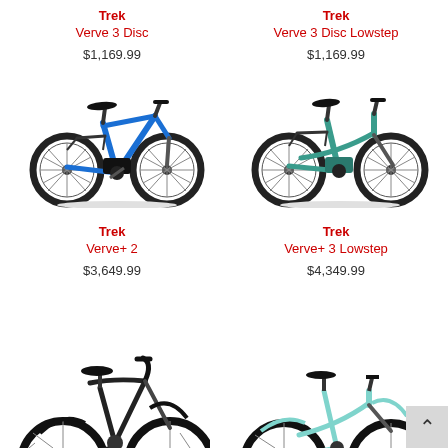Trek
Verve 3 Disc
Trek
Verve 3 Disc Lowstep
$1,169.99
$1,169.99
[Figure (photo): Blue Trek Verve 3 Disc electric city bike]
[Figure (photo): Teal/green Trek Verve 3 Disc Lowstep electric city bike with step-through frame]
Trek
Verve+ 2
Trek
Verve+ 3 Lowstep
$3,649.99
$4,349.99
[Figure (photo): Black cruiser-style bike, partially visible at bottom]
[Figure (photo): Light blue/teal step-through bike, partially visible at bottom]